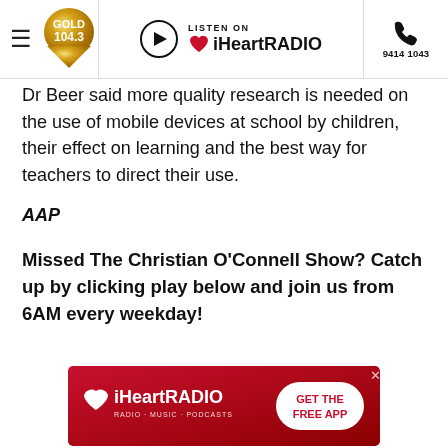Gold 104.3 | LISTEN ON iHeartRADIO | 9414 1043
Dr Beer said more quality research is needed on the use of mobile devices at school by children, their effect on learning and the best way for teachers to direct their use.
AAP
Missed The Christian O'Connell Show? Catch up by clicking play below and join us from 6AM every weekday!
[Figure (other): iHeartRADIO advertisement banner with red gradient background, iHeartRADIO logo on left, and 'GET THE FREE APP' button on right, with a close button (X) in the top-right corner.]